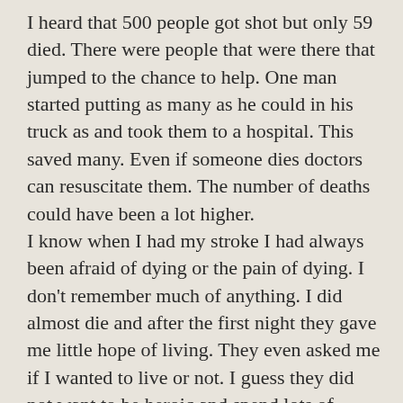I heard that 500 people got shot but only 59 died. There were people that were there that jumped to the chance to help. One man started putting as many as he could in his truck as and took them to a hospital. This saved many. Even if someone dies doctors can resuscitate them. The number of deaths could have been a lot higher.
I know when I had my stroke I had always been afraid of dying or the pain of dying. I don't remember much of anything. I did almost die and after the first night they gave me little hope of living. They even asked me if I wanted to live or not. I guess they did not want to be heroic and spend lots of money if I had given up.
Now I fear nothing because my God is in control and I trust that I will die when I am meant to die and I probably won't remember pain when I see the face of Jesus in Heaven. No, it doesn't matter to...